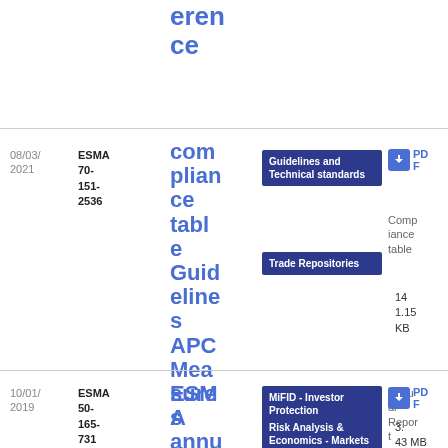erence
| Date | Reference | Title | Type | Category | Format | Size |
| --- | --- | --- | --- | --- | --- | --- |
| 08/03/2021 | ESMA 70-151-2536 | compliance table Guidelines APC Measures | Guidelines and Technical standards | Trade Repositories | Compliance table | PDF | 141.15 KB |
| 10/01/2019 | ESMA 50-165-731 | ESMA annual stati... | MiFID - Investor Protection | Risk Analysis & Economics - Markets | Annual Report | PDF | 3.43 MB |